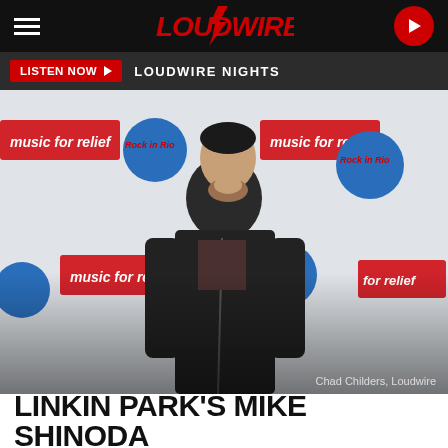LOUDWIRE
LISTEN NOW  LOUDWIRE NIGHTS
[Figure (photo): Mike Shinoda of Linkin Park standing in front of a Music for Relief / Rock in Rio event backdrop, wearing a dark jacket. Credit: Chad Childers, Loudwire]
Chad Childers, Loudwire
LINKIN PARK'S MIKE SHINODA